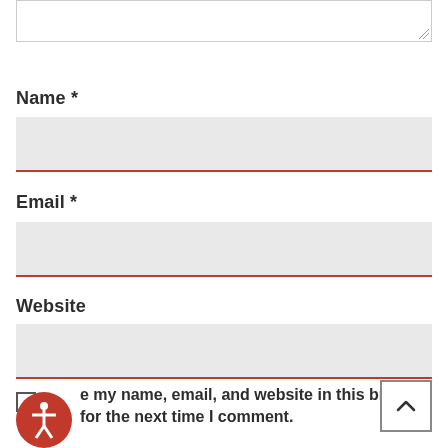[Figure (screenshot): Top portion of a text area input field with resize handle in bottom-right corner]
Name *
[Figure (screenshot): Name input field with light gray background and red bottom border]
Email *
[Figure (screenshot): Email input field with light gray background and red bottom border]
Website
[Figure (screenshot): Website input field with light gray background and red bottom border]
Save my name, email, and website in this browser for the next time I comment.